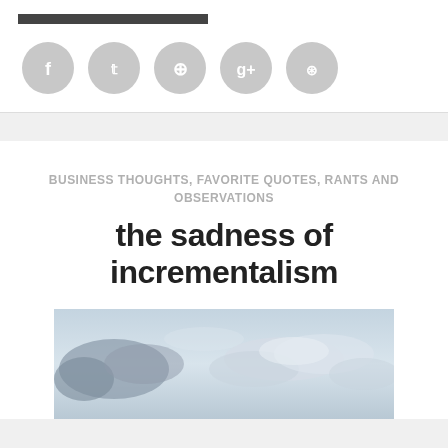[Figure (other): Dark horizontal bar (partial navigation or header bar)]
[Figure (other): Social media sharing icons: Facebook, Twitter, Pinterest, Google+, StumbleUpon — gray circular buttons]
BUSINESS THOUGHTS, FAVORITE QUOTES, RANTS AND OBSERVATIONS
the sadness of incrementalism
[Figure (photo): Photograph of a cloudy sky with blue and grey tones]